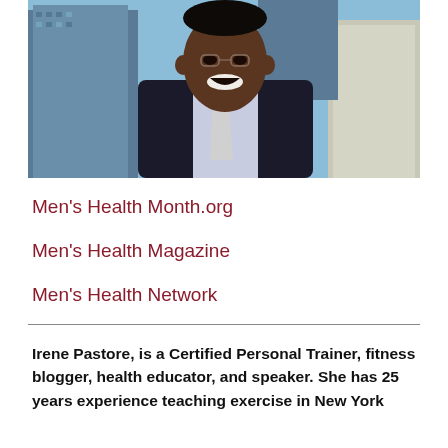[Figure (photo): Professional photo of a smiling Black man in a dark suit and striped shirt with a light tie, standing in front of city buildings with a blue sky background.]
Men's Health Month.org
Men's Health Magazine
Men's Health Network
Irene Pastore, is a Certified Personal Trainer, fitness blogger, health educator, and speaker. She has 25 years experience teaching exercise in New York